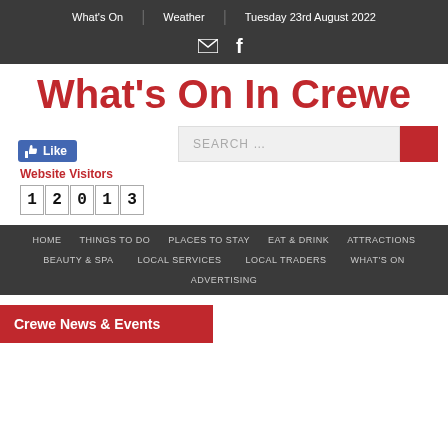What's On | Weather | Tuesday 23rd August 2022
What's On In Crewe
[Figure (screenshot): Search bar with red search button and Facebook Like button below]
Website Visitors 12013
HOME | THINGS TO DO | PLACES TO STAY | EAT & DRINK | ATTRACTIONS | BEAUTY & SPA | LOCAL SERVICES | LOCAL TRADERS | WHAT'S ON | ADVERTISING
Crewe News & Events